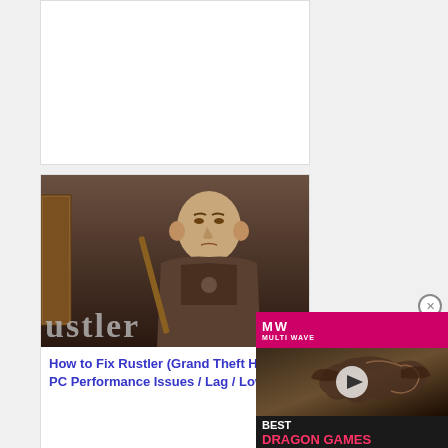[Figure (screenshot): Blank white placeholder card/box at top of page]
[Figure (screenshot): Rustler (Grand Theft Horse) game cover art showing a bald medieval character holding a weapon with the game title text 'ustler' visible]
How to Fix Rustler (Grand Theft Horse) PC Performance Issues / Lag / Low FPS
[Figure (screenshot): Video advertisement overlay showing MW (MulltiWave) logo on pink/magenta header, dragon game footage with play button, and text 'BEST DRAGON GAMES' with close X button]